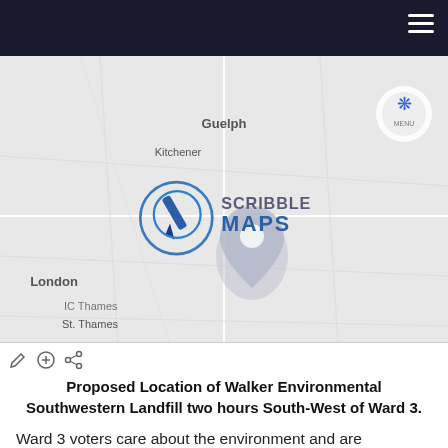[Figure (map): Scribble Maps screenshot showing southern Ontario region including Guelph, Kitchener, London, St. Thomas/Thames area. A map pin/marker is visible near London. The Scribble Maps logo is overlaid on the map. A toolbar with sharing/edit icons is at the bottom of the map.]
Proposed Location of Walker Environmental Southwestern Landfill two hours South-West of Ward 3.
Ward 3 voters care about the environment and are